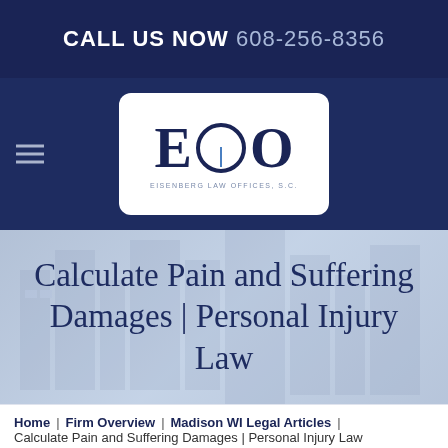CALL US NOW 608-256-8356
[Figure (logo): Eisenberg Law Offices, S.C. logo with letters E and O in navy blue on white rounded rectangle background]
Calculate Pain and Suffering Damages | Personal Injury Law
Home | Firm Overview | Madison WI Legal Articles | Calculate Pain and Suffering Damages | Personal Injury Law